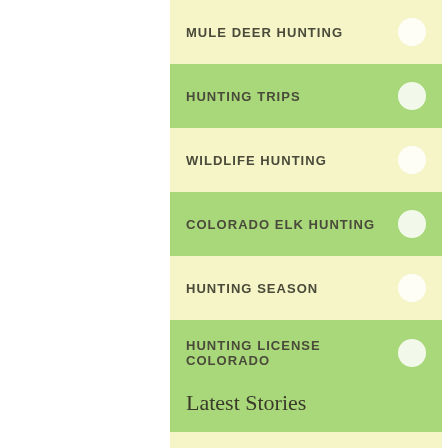MULE DEER HUNTING
HUNTING TRIPS
WILDLIFE HUNTING
COLORADO ELK HUNTING
HUNTING SEASON
HUNTING LICENSE COLORADO
HUNTING COLORADO
Latest Stories
MULE DEER HUNTING TRIPS